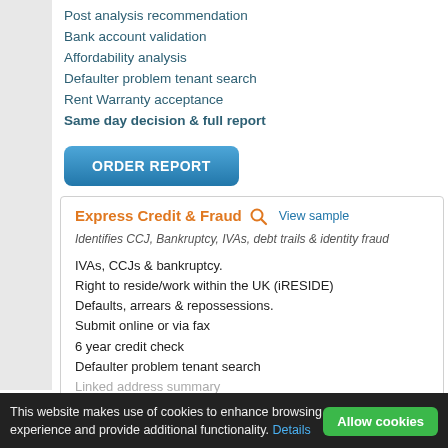Post analysis recommendation
Bank account validation
Affordability analysis
Defaulter problem tenant search
Rent Warranty acceptance
Same day decision & full report
ORDER REPORT
Express Credit & Fraud
View sample
Identifies CCJ, Bankruptcy, IVAs, debt trails & identity fraud
IVAs, CCJs & bankruptcy.
Right to reside/work within the UK (iRESIDE)
Defaults, arrears & repossessions.
Submit online or via fax
6 year credit check
Defaulter problem tenant search
Linked address summary
2 hour decision & credit score
This website makes use of cookies to enhance browsing experience and provide additional functionality. Details
Allow cookies